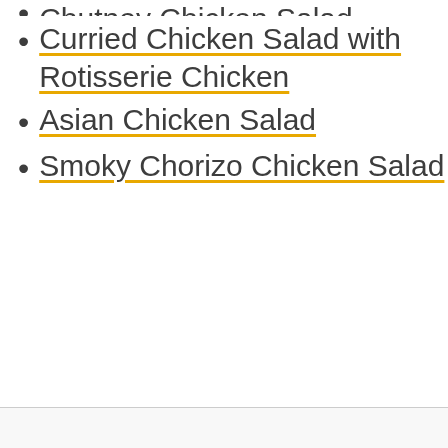Chutney Chicken Salad
Curried Chicken Salad with Rotisserie Chicken
Asian Chicken Salad
Smoky Chorizo Chicken Salad